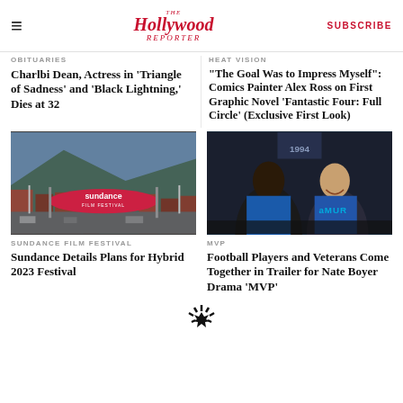The Hollywood Reporter | SUBSCRIBE
OBITUARIES
Charlbi Dean, Actress in 'Triangle of Sadness' and 'Black Lightning,' Dies at 32
HEAT VISION
“The Goal Was to Impress Myself”: Comics Painter Alex Ross on First Graphic Novel ‘Fantastic Four: Full Circle’ (Exclusive First Look)
[Figure (photo): Sundance Film Festival banner over a snowy mountain town street]
SUNDANCE FILM FESTIVAL
Sundance Details Plans for Hybrid 2023 Festival
[Figure (photo): Two men in football gear facing each other, one smiling, dark tunnel background with AMUR text]
MVP
Football Players and Veterans Come Together in Trailer for Nate Boyer Drama ‘MVP’
[Figure (logo): The Hollywood Reporter starburst logo mark at bottom center]